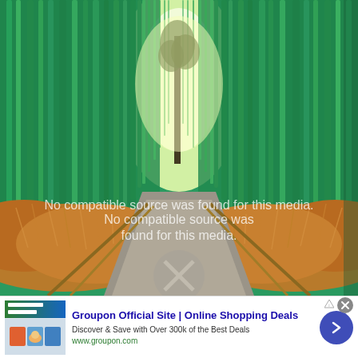[Figure (photo): A bamboo forest path (Arashiyama, Kyoto style) with tall green bamboo stalks on both sides creating a tunnel effect, with dry golden grass at the base, a wooden fence/railing along a stone path, and a single tree visible in the bright light at the end of the path. Overlaid text reads 'No compatible source was found for this media.' with a translucent X/play icon.]
No compatible source was found for this media.
[Figure (screenshot): Groupon advertisement banner showing thumbnail images, title 'Groupon Official Site | Online Shopping Deals', description 'Discover & Save with Over 300k of the Best Deals', URL 'www.groupon.com', a blue circular arrow button, and a close (X) button.]